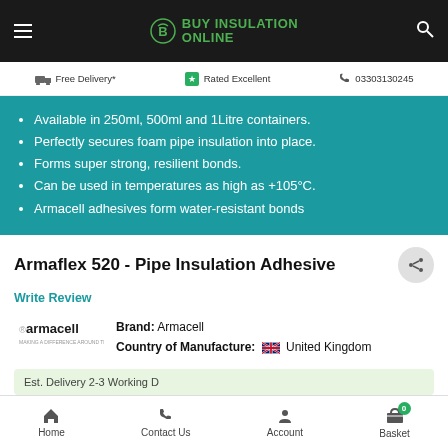BUY INSULATION ONLINE
Free Delivery*  Rated Excellent  03303130245
Available in 250ml, 500ml and 1Litre containers.
Perfectly secures foam pipe insulation into place.
Forms super strong, resilient bonds.
Can be used in temperatures as high as +105°C.
Armacell adhesives form water-resistant bonds
Armaflex 520 - Pipe Insulation Adhesive
Write Review
Brand: Armacell  Country of Manufacture: United Kingdom
Est. Delivery 2-3 Working D...
Home  Contact Us  Account  Basket